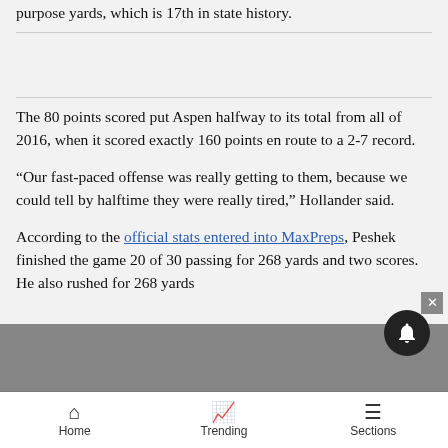purpose yards, which is 17th in state history.
The 80 points scored put Aspen halfway to its total from all of 2016, when it scored exactly 160 points en route to a 2-7 record.
“Our fast-paced offense was really getting to them, because we could tell by halftime they were really tired,” Hollander said.
According to the official stats entered into MaxPreps, Peshek finished the game 20 of 30 passing for 268 yards and two scores. He also rushed for 268 yards
Home   Trending   Sections